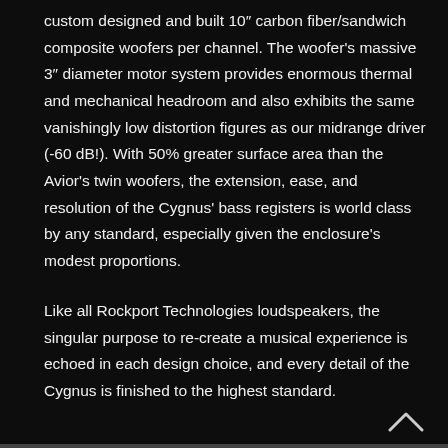custom designed and built 10″ carbon fiber/sandwich composite woofers per channel. The woofer's massive 3″ diameter motor system provides enormous thermal and mechanical headroom and also exhibits the same vanishingly low distortion figures as our midrange driver (-60 dB!). With 50% greater surface area than the Avior's twin woofers, the extension, ease, and resolution of the Cygnus' bass registers is world class by any standard, especially given the enclosure's modest proportions.
Like all Rockport Technologies loudspeakers, the singular purpose to re-create a musical experience is echoed in each design choice, and every detail of the Cygnus is finished to the highest standard.